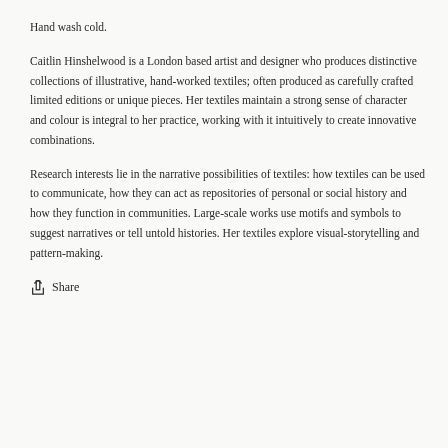Hand wash cold.
Caitlin Hinshelwood is a London based artist and designer who produces distinctive collections of illustrative, hand-worked textiles; often produced as carefully crafted limited editions or unique pieces. Her textiles maintain a strong sense of character and colour is integral to her practice, working with it intuitively to create innovative combinations.
Research interests lie in the narrative possibilities of textiles: how textiles can be used to communicate, how they can act as repositories of personal or social history and how they function in communities. Large-scale works use motifs and symbols to suggest narratives or tell untold histories. Her textiles explore visual-storytelling and pattern-making.
Share